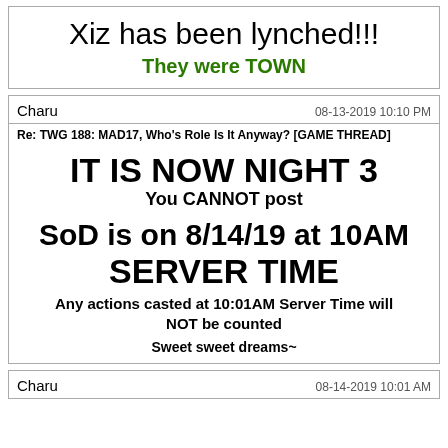Xiz has been lynched!!!
They were TOWN
Charu  08-13-2019 10:10 PM
Re: TWG 188: MAD17, Who's Role Is It Anyway? [GAME THREAD]
IT IS NOW NIGHT 3
You CANNOT post
SoD is on 8/14/19 at 10AM SERVER TIME
Any actions casted at 10:01AM Server Time will NOT be counted
Sweet sweet dreams~
Charu  08-14-2019 10:01 AM